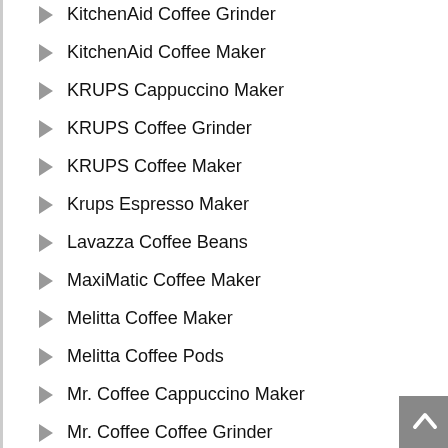KitchenAid Coffee Grinder
KitchenAid Coffee Maker
KRUPS Cappuccino Maker
KRUPS Coffee Grinder
KRUPS Coffee Maker
Krups Espresso Maker
Lavazza Coffee Beans
MaxiMatic Coffee Maker
Melitta Coffee Maker
Melitta Coffee Pods
Mr. Coffee Cappuccino Maker
Mr. Coffee Coffee Grinder
Mr. Coffee Coffee Maker
Nespresso Coffee Pods
Nespresso Espresso Maker
Philips Saeco Espresso Maker